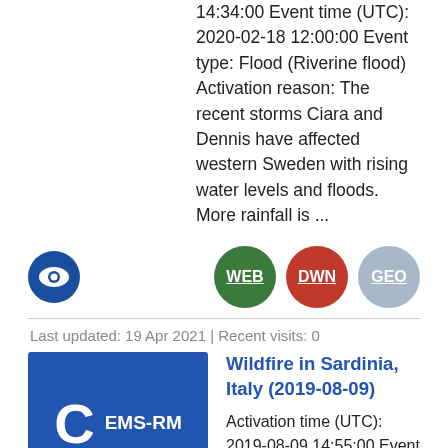14:34:00 Event time (UTC): 2020-02-18 12:00:00 Event type: Flood (Riverine flood) Activation reason: The recent storms Ciara and Dennis have affected western Sweden with rising water levels and floods. More rainfall is ...
[Figure (other): Eye/globe icon and three circular badges labeled WEB (green), DWN (red), GEO (light blue)]
Last updated: 19 Apr 2021 | Recent visits: 0
[Figure (logo): Blue rectangle icon with large letter C and text EMS-RM in white]
Wildfire in Sardinia, Italy (2019-08-09)
Activation time (UTC): 2019-08-09 14:55:00 Event time (UTC): 2019-08-06 07:00:00 Event type: Wildfire (Land fire: brush, bush, pasture) Activation reason: In the early...